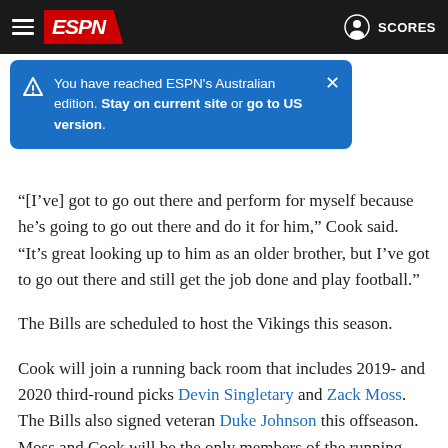ESPN - Hamburger menu | ESPN logo | SCORES
[Figure (screenshot): Blue tooltip notification: 'You have reached ESPN's Australian edition. Stay on current site or go to US version.']
“[I’ve] got to go out there and perform for myself because he’s going to go out there and do it for him,” Cook said. “It’s great looking up to him as an older brother, but I’ve got to go out there and still get the job done and play football.”
The Bills are scheduled to host the Vikings this season.
Cook will join a running back room that includes 2019- and 2020 third-round picks Devin Singletary and Zack Moss. The Bills also signed veteran Duke Johnson this offseason. Moss and Cook will be the only members of the running back room under contract for 2023.
“I can do it all,” Cook said. “I can play in the slot. I can play